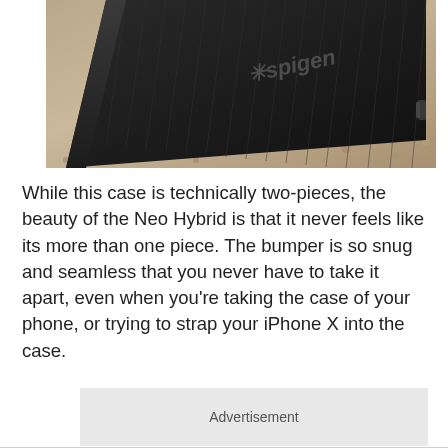[Figure (photo): Close-up photo of a Spigen Neo Hybrid phone case (black with ribbed texture) lying on a concrete/gravel surface. The Spigen logo is visible on the back of the case. The side rail of the case is also visible.]
While this case is technically two-pieces, the beauty of the Neo Hybrid is that it never feels like its more than one piece. The bumper is so snug and seamless that you never have to take it apart, even when you're taking the case of your phone, or trying to strap your iPhone X into the case.
Advertisement